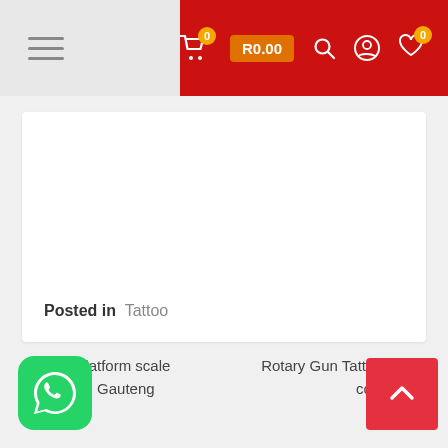Navigation header with hamburger menu, cart (R0.00), search, account, and wishlist icons
Posted in   Tattoo
< Digital platform scale Supplier in Gauteng
Rotary Gun Tattoo kit set complete >
[Figure (logo): WhatsApp icon button (green rounded square with white phone/chat icon)]
[Figure (other): Back to top button (red square with white upward chevron arrow)]